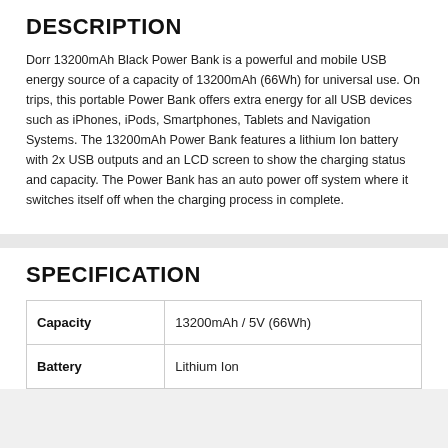DESCRIPTION
Dorr 13200mAh Black Power Bank is a powerful and mobile USB energy source of a capacity of 13200mAh (66Wh) for universal use. On trips, this portable Power Bank offers extra energy for all USB devices such as iPhones, iPods, Smartphones, Tablets and Navigation Systems. The 13200mAh Power Bank features a lithium Ion battery with 2x USB outputs and an LCD screen to show the charging status and capacity. The Power Bank has an auto power off system where it switches itself off when the charging process in complete.
SPECIFICATION
|  |  |
| --- | --- |
| Capacity | 13200mAh / 5V (66Wh) |
| Battery | Lithium Ion |